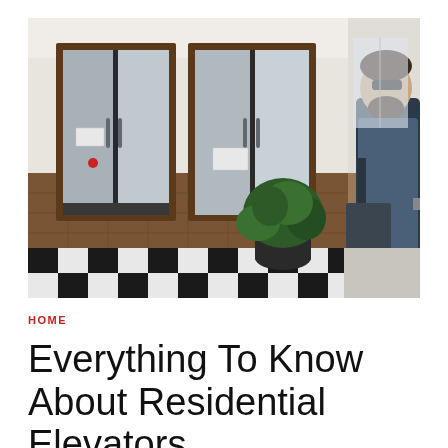[Figure (photo): Interior lobby with two elevator doors open, brown tile walls, black and white checkered floor, a large green plant in the foreground, and a bearded man in a denim jacket standing to the right.]
HOME
Everything To Know About Residential Elevators